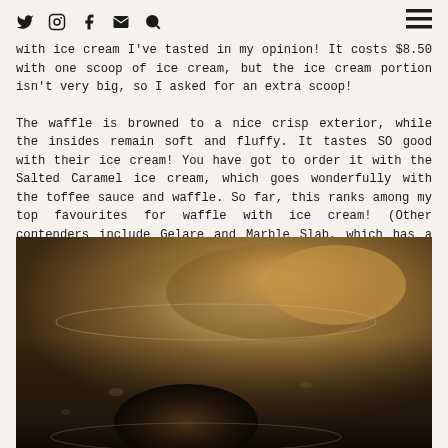[navigation icons: Twitter, Instagram, Facebook, Email, Search] [hamburger menu]
with ice cream I've tasted in my opinion! It costs $8.50 with one scoop of ice cream, but the ice cream portion isn't very big, so I asked for an extra scoop!
The waffle is browned to a nice crisp exterior, while the insides remain soft and fluffy. It tastes SO good with their ice cream! You have got to order it with the Salted Caramel ice cream, which goes wonderfully with the toffee sauce and waffle. So far, this ranks among my top favourites for waffle with ice cream! (Other contenders include Gelare and Marble Slab, which has a surprisingly good waffle!)
[Figure (photo): Close-up photo of waffles with ice cream on a plate, showing golden-brown waffle pieces and what appears to be a dark chocolate item in the foreground, on a decorative plate]